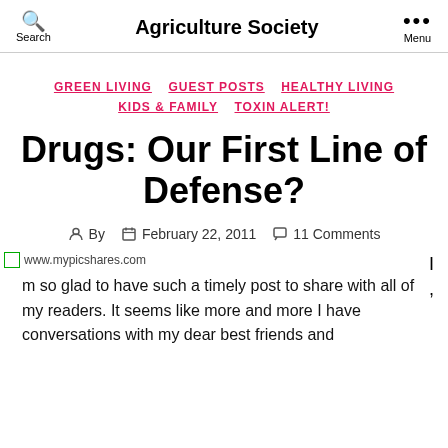Agriculture Society
GREEN LIVING  GUEST POSTS  HEALTHY LIVING  KIDS & FAMILY  TOXIN ALERT!
Drugs: Our First Line of Defense?
By  February 22, 2011  11 Comments
[Figure (photo): Image placeholder with www.mypicshares.com watermark and partial text visible on right side]
I'm so glad to have such a timely post to share with all of my readers. It seems like more and more I have conversations with my dear best friends and